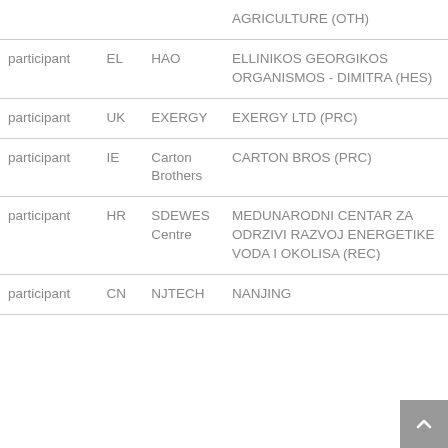|  |  |  |  |
| --- | --- | --- | --- |
|  |  |  | AGRICULTURE (OTH) |
| participant | EL | HAO | ELLINIKOS GEORGIKOS ORGANISMOS - DIMITRA (HES) |
| participant | UK | EXERGY | EXERGY LTD (PRC) |
| participant | IE | Carton Brothers | CARTON BROS (PRC) |
| participant | HR | SDEWES Centre | MEDUNARODNI CENTAR ZA ODRZIVI RAZVOJ ENERGETIKE VODA I OKOLISA (REC) |
| participant | CN | NJTECH | NANJING |